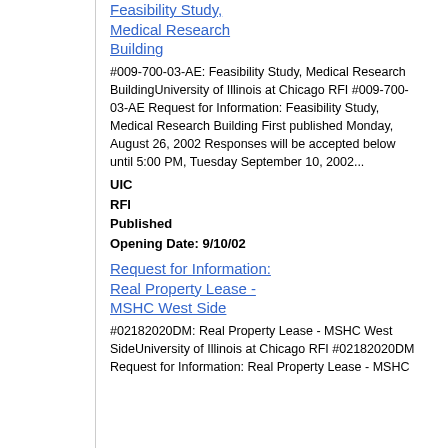Feasibility Study, Medical Research Building
#009-700-03-AE: Feasibility Study, Medical Research BuildingUniversity of Illinois at Chicago RFI #009-700-03-AE Request for Information: Feasibility Study, Medical Research Building First published Monday, August 26, 2002 Responses will be accepted below until 5:00 PM, Tuesday September 10, 2002...
UIC
RFI
Published
Opening Date: 9/10/02
Request for Information: Real Property Lease - MSHC West Side
#02182020DM: Real Property Lease - MSHC West SideUniversity of Illinois at Chicago RFI #02182020DM Request for Information: Real Property Lease - MSHC